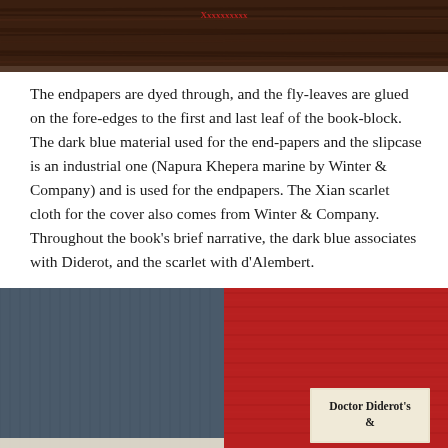[Figure (photo): Top portion of a dark wood-grained book cover or surface with a small red text/logo visible at the top center]
The endpapers are dyed through, and the fly-leaves are glued on the fore-edges to the first and last leaf of the book-block. The dark blue material used for the end-papers and the slipcase is an industrial one (Napura Khepera marine by Winter & Company) and is used for the endpapers. The Xian scarlet cloth for the cover also comes from Winter & Company. Throughout the book's brief narrative, the dark blue associates with Diderot, and the scarlet with d'Alembert.
[Figure (photo): Two books side by side: left book covered in dark navy/slate blue cloth, right book covered in scarlet/red cloth with a cream label reading 'Doctor Diderot's &']